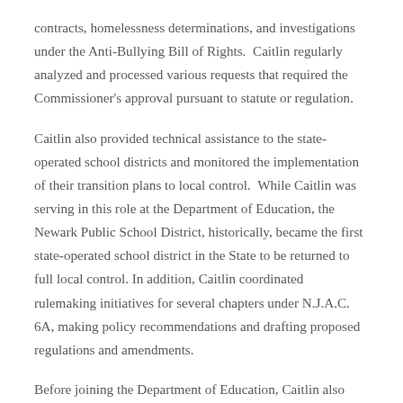contracts, homelessness determinations, and investigations under the Anti-Bullying Bill of Rights.  Caitlin regularly analyzed and processed various requests that required the Commissioner's approval pursuant to statute or regulation.
Caitlin also provided technical assistance to the state-operated school districts and monitored the implementation of their transition plans to local control.  While Caitlin was serving in this role at the Department of Education, the Newark Public School District, historically, became the first state-operated school district in the State to be returned to full local control. In addition, Caitlin coordinated rulemaking initiatives for several chapters under N.J.A.C. 6A, making policy recommendations and drafting proposed regulations and amendments.
Before joining the Department of Education, Caitlin also worked in an education law firm Burlington County, where she primarily focused on special education litigation, representing school districts throughout the State in emergent applications, mediation and settlement conferences, due process hearings, motion